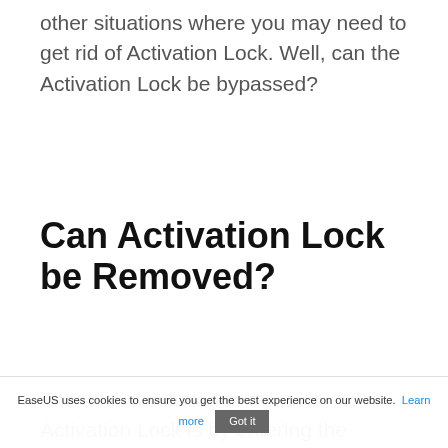other situations where you may need to get rid of Activation Lock. Well, can the Activation Lock be bypassed?
Can Activation Lock be Removed?
The official solution to remove Activation Lock is by entering the correct password to the linked iCloud account. If your account is linked to someone else's Apple ID or you can't remember your iCloud password, then you have to use some unofficial solutions about a
EaseUS uses cookies to ensure you get the best experience on our website. Learn more Got it